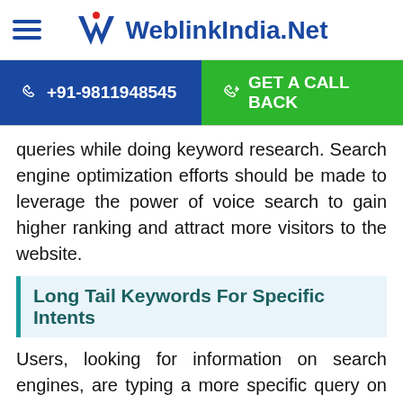WeblinkIndia.Net
+91-9811948545 | GET A CALL BACK
queries while doing keyword research. Search engine optimization efforts should be made to leverage the power of voice search to gain higher ranking and attract more visitors to the website.
Long Tail Keywords For Specific Intents
Users, looking for information on search engines, are typing a more specific query on the search tab instead of the regular one-word keywords. Instead of typing phones, they are now searching for android smartphones under 15,000 to get more relevant results. This means that you need to search for long-